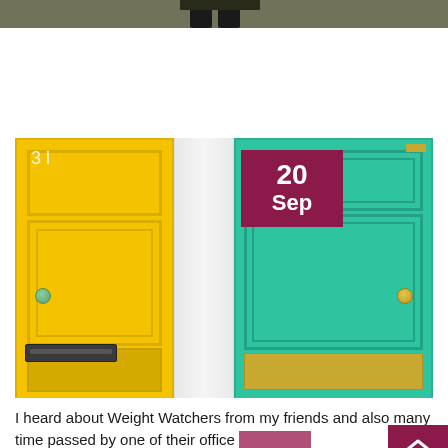[Figure (photo): Top portion of a photo showing a person standing outdoors, cropped at the top edge of the page]
[Figure (photo): Two colorful front doors side by side: a bright yellow door numbered '31' on the left and a teal/green door on the right. A date badge reading '20 Sep' in white text on a dark pink/maroon background overlays the top-left of the green door. A white pillar separates the two doors.]
I heard about Weight Watchers from my friends and also many time passed by one of their office on my way